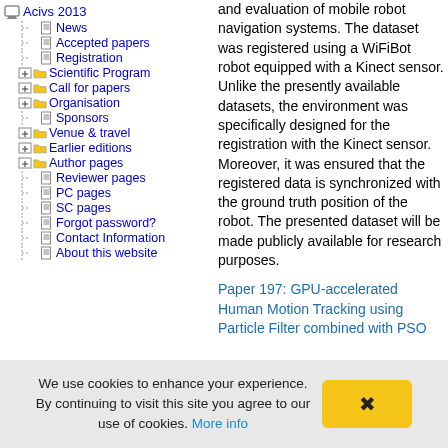Acivs 2013
News
Accepted papers
Registration
Scientific Program
Call for papers
Organisation
Sponsors
Venue & travel
Earlier editions
Author pages
Reviewer pages
PC pages
SC pages
Forgot password?
Contact Information
About this website
and evaluation of mobile robot navigation systems. The dataset was registered using a WiFiBot robot equipped with a Kinect sensor. Unlike the presently available datasets, the environment was specifically designed for the registration with the Kinect sensor. Moreover, it was ensured that the registered data is synchronized with the ground truth position of the robot. The presented dataset will be made publicly available for research purposes.
Paper 197: GPU-accelerated Human Motion Tracking using Particle Filter combined with PSO
We use cookies to enhance your experience. By continuing to visit this site you agree to our use of cookies. More info